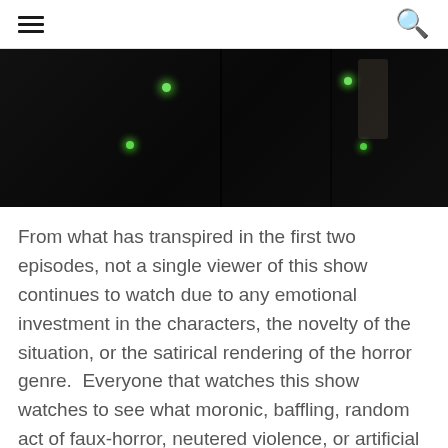☰  🔍
[Figure (photo): Dark scene screenshot from a TV show with figures and small green glowing dots visible against a very dark background]
From what has transpired in the first two episodes, not a single viewer of this show continues to watch due to any emotional investment in the characters, the novelty of the situation, or the satirical rendering of the horror genre.  Everyone that watches this show watches to see what moronic, baffling, random act of faux-horror, neutered violence, or artificial creepiness will transpire next.  As stated, this is very confusing, and if television reality has taught me anything, it's that American audiences hate confusion more than smoke monsters.  In the case of this show, absolutely no one seems to